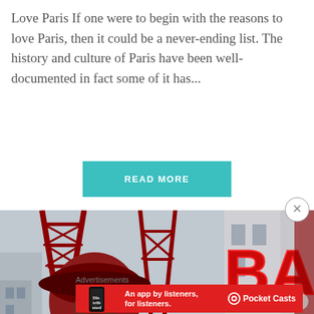Love Paris If one were to begin with the reasons to love Paris, then it could be a never-ending list. The history and culture of Paris have been well-documented in fact some of it has...
READ MORE
[Figure (photo): Photo of the Moulin Rouge windmill structure in Paris (left panel) and a neon sign reading 'BA...DU' partially visible (right panel)]
Advertisements
[Figure (screenshot): Pocket Casts advertisement banner: 'An app by listeners, for listeners.' on red background with phone image and Pocket Casts logo]